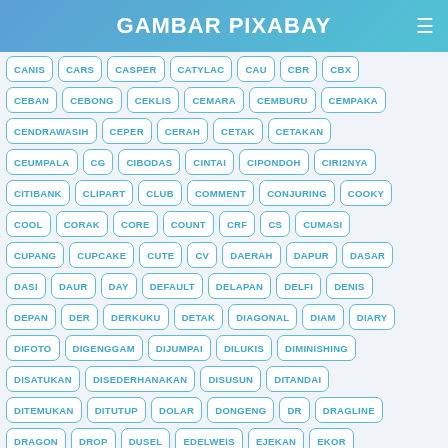GAMBAR PIXABAY
CANIS, CARS, CASPER, CATYLAC, CAU, CBR, CBX
CEBAN, CEBONG, CEKLIS, CEMARA, CEMBURU, CEMPAKA
CENDRAWASIH, CEPER, CERAH, CETAK, CETAKAN
CEUMPALA, CG, CIBODAS, CINTAI, CIPONDOH, CIRI2NYA
CITIBANK, CLIPART, CLUB, COMMENT, CONJURING, COOKY
COOL, CORAK, CORE, COUNT, CRF, CS, CUMASI
CUPANG, CUPCAKE, CUTE, CV, DAERAH, DAPUR, DASAR
DASI, DAUR, DAY, DEFAULT, DELAPAN, DELFI, DENIS
DEPAN, DER, DERKUKU, DETAK, DIAGONAL, DIAM, DIARY
DIFOTO, DIGENGGAM, DIJUMPAI, DILUKIS, DIMINISHING
DISATUKAN, DISEDERHANAKAN, DISUSUN, DITANDAI
DITEMUKAN, DITUTUP, DOLAR, DONGENG, DR, DRAGLINE
DRAGON, DROP, DUSEL, EDELWEIS, EJEKAN, EKOR